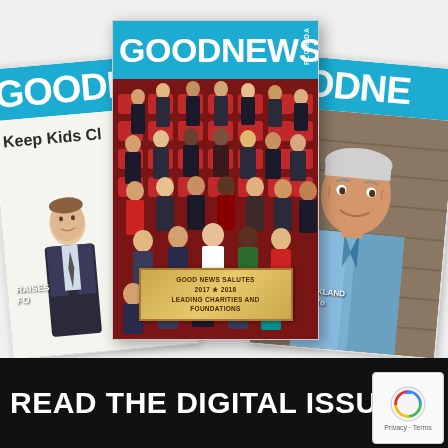[Figure (photo): Collage of three Good News Florida magazine covers: left cover shows a man in a suit with text 'Keep Kids Cl...' and 'RAISES... FO...'; center cover shows GOODNEWS FLORIDA with a group photo of people in an auditorium with red seats and a gold plaque reading 'GOOD NEWS SALUTES 2017 x 2018 LEADING CHARITIES AND FOUNDATIONS'; right cover shows GOODNEWS with an older man in a denim jacket and text 'AHAM...18', 'STRONG - PARKLAND', and 'his Community To...']
READ THE DIGITAL ISSUE